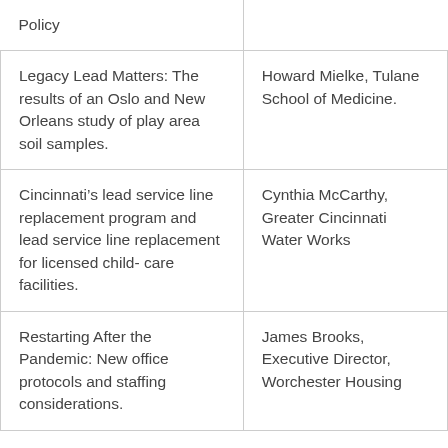| Policy |  |
| Legacy Lead Matters: The results of an Oslo and New Orleans study of play area soil samples. | Howard Mielke, Tulane School of Medicine. |
| Cincinnati’s lead service line replacement program and lead service line replacement for licensed child- care facilities. | Cynthia McCarthy, Greater Cincinnati Water Works |
| Restarting After the Pandemic: New office protocols and staffing considerations. | James Brooks, Executive Director, Worchester Housing |